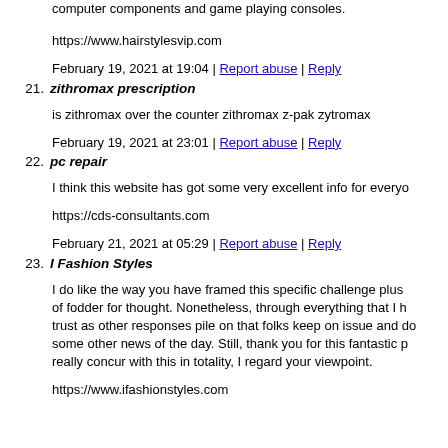computer components and game playing consoles.
https://www.hairstylesvip.com
February 19, 2021 at 19:04 | Report abuse | Reply
21. zithromax prescription
is zithromax over the counter zithromax z-pak zytromax
February 19, 2021 at 23:01 | Report abuse | Reply
22. pc repair
I think this website has got some very excellent info for everyo
https://cds-consultants.com
February 21, 2021 at 05:29 | Report abuse | Reply
23. I Fashion Styles
I do like the way you have framed this specific challenge plus of fodder for thought. Nonetheless, through everything that I h trust as other responses pile on that folks keep on issue and do some other news of the day. Still, thank you for this fantastic p really concur with this in totality, I regard your viewpoint.
https://www.ifashionstyles.com